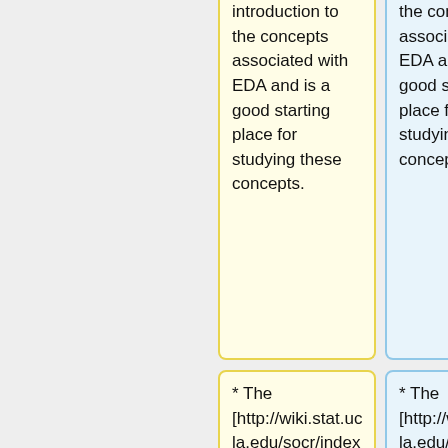introduction to the concepts associated with EDA and is a good starting place for studying these concepts.
the concepts associated with EDA and is a good starting place for studying these concepts.
* The [http://wiki.stat.ucla.edu/socr/index.php/SOCR_HTML5_Expansion_MotionCharts SOCR Motion Charts Project] enables complex data visualization, see the [http://socr.umich.edu/HTML5/Moti onChart/ SOCR
* The [http://wiki.stat.ucla.edu/socr/index.php/SOCR_HTML5_Expansion_MotionCharts SOCR Motion Charts Project] enables complex data visualization, see the [http://socr.umich.edu/HTML5/Moti onChart/ SOCR